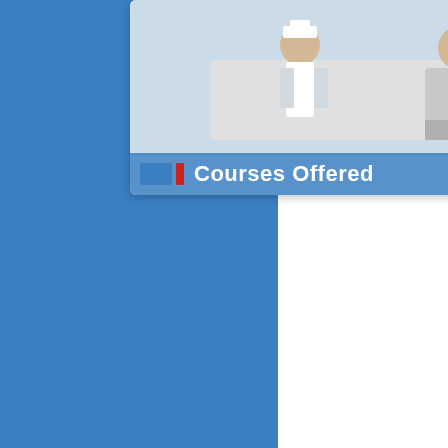[Figure (photo): A UI card/button showing a nurse attending to a patient, with a label overlay reading 'Courses Offered' with blue and red icon accents, set against a blue background. The right side has a white content panel.]